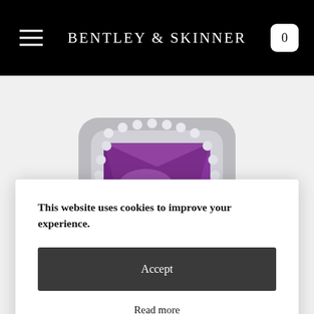BENTLEY & SKINNER
[Figure (photo): Close-up photograph of a luxury jewellery ring featuring a large rectangular purple/violet amethyst gemstone set in a platinum or white gold mount surrounded by brilliant-cut diamonds.]
This website uses cookies to improve your experience.
Accept
Read more